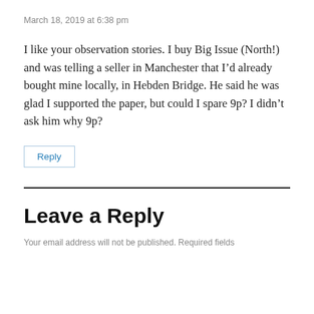March 18, 2019 at 6:38 pm
I like your observation stories. I buy Big Issue (North!) and was telling a seller in Manchester that I'd already bought mine locally, in Hebden Bridge. He said he was glad I supported the paper, but could I spare 9p? I didn't ask him why 9p?
Reply
Leave a Reply
Your email address will not be published. Required fields